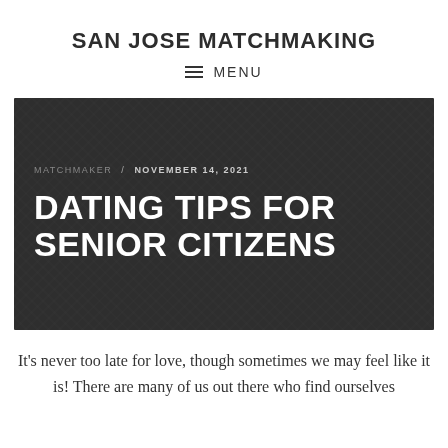SAN JOSE MATCHMAKING
MENU
[Figure (other): Dark chalkboard-textured hero image with metadata and article title: MATCHMAKER / NOVEMBER 14, 2021 and DATING TIPS FOR SENIOR CITIZENS]
It's never too late for love, though sometimes we may feel like it is! There are many of us out there who find ourselves